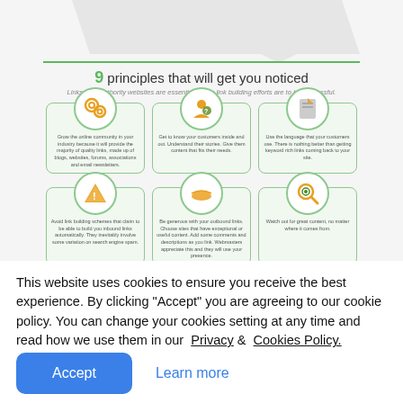[Figure (infographic): Infographic showing '9 principles that will get you noticed' with icon boxes arranged in a grid. Row 1: gears icon (online community/quality links), person icon (get to know customers), document icon (use language customers use). Row 2: warning triangle icon (avoid link building schemes), hand icon (be generous with outbound links), magnifying glass icon (watch out for great content).]
This website uses cookies to ensure you receive the best experience. By clicking "Accept" you are agreeing to our cookie policy. You can change your cookies setting at any time and read how we use them in our Privacy & Cookies Policy.
Accept
Learn more